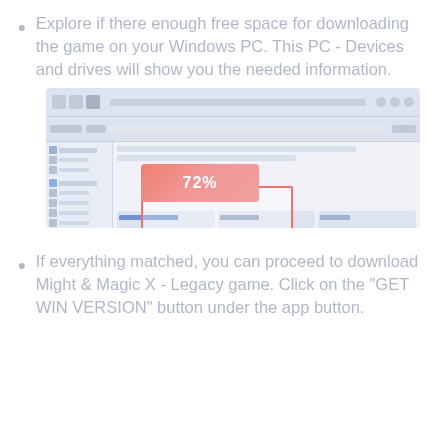Explore if there enough free space for downloading the game on your Windows PC. This PC - Devices and drives will show you the needed information.
[Figure (screenshot): Windows File Explorer screenshot showing 'This PC' view with Devices and drives section. A pink/salmon gradient overlay showing '72%' is displayed over the drives area, and a red outlined rectangle highlights the drives section.]
If everything matched, you can proceed to download Might & Magic X - Legacy game. Click on the "GET WIN VERSION" button under the app button.